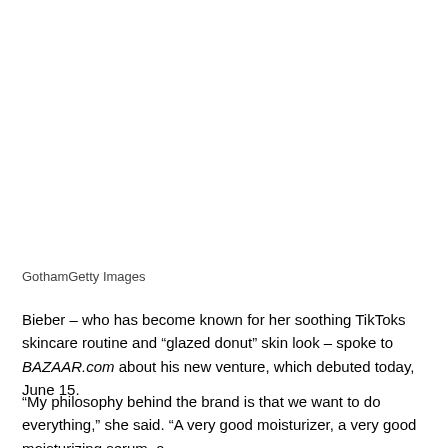GothamGetty Images
Bieber – who has become known for her soothing TikToks skincare routine and “glazed donut” skin look – spoke to BAZAAR.com about his new venture, which debuted today, June 15.
“My philosophy behind the brand is that we want to do everything,” she said. “A very good moisturizer, a very good moisturizing serum, a